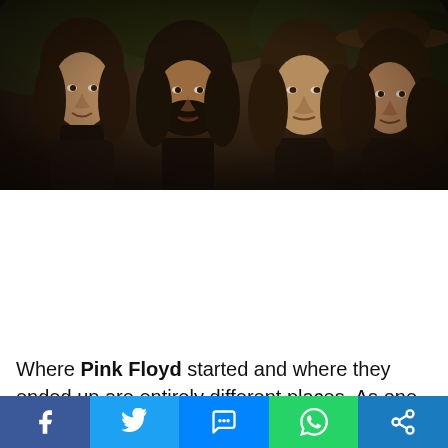[Figure (photo): Black and white / sepia-toned photograph of four long-haired men (Pink Floyd band members) posed together outdoors with foliage in the background.]
Where Pink Floyd started and where they ended up are entirely different places. As one of the U.K.'s premier